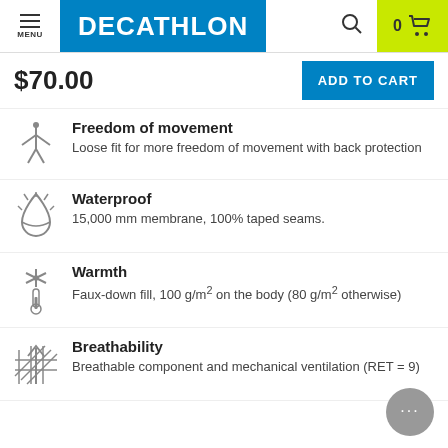MENU | DECATHLON | 0 (cart)
$70.00
ADD TO CART
Freedom of movement — Loose fit for more freedom of movement with back protection
Waterproof — 15,000 mm membrane, 100% taped seams.
Warmth — Faux-down fill, 100 g/m² on the body (80 g/m² otherwise)
Breathability — Breathable component and mechanical ventilation (RET = 9)